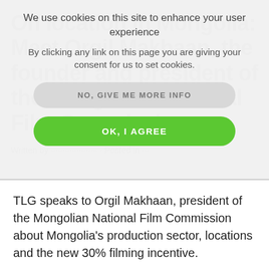We use cookies on this site to enhance your user experience
By clicking any link on this page you are giving your consent for us to set cookies.
NO, GIVE ME MORE INFO
OK, I AGREE
TLG speaks to Orgil Makhaan, president of the Mongolian National Film Commission about Mongolia's production sector, locations and the new 30% filming incentive.
READ MORE